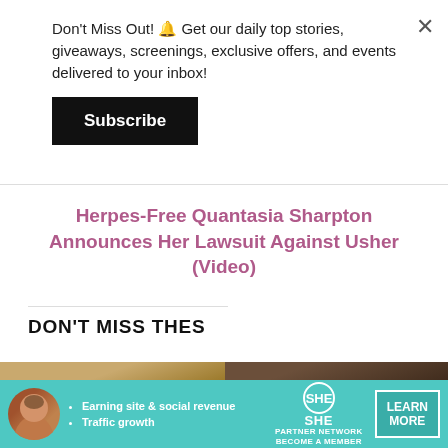Don't Miss Out! 🔔 Get our daily top stories, giveaways, screenings, exclusive offers, and events delivered to your inbox!
Subscribe
Herpes-Free Quantasia Sharpton Announces Her Lawsuit Against Usher (Video)
DON'T MISS THES
[Figure (photo): Thumbnail image of a person with blonde hair]
[Figure (photo): Thumbnail image, dark toned]
[Figure (infographic): SHE Partner Network advertisement banner with avatar, bullets: Earning site & social revenue, Traffic growth; logo and LEARN MORE button]